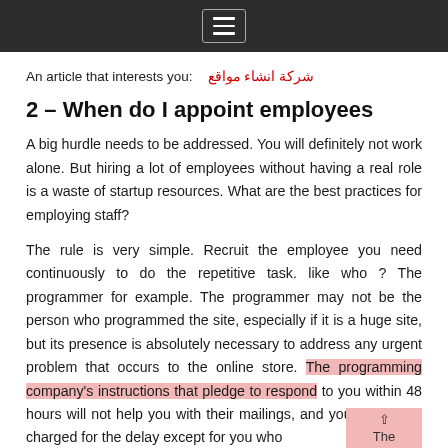[hamburger menu icon]
An article that interests you:  شركة انشاء مواقع
2 – When do I appoint employees
A big hurdle needs to be addressed. You will definitely not work alone. But hiring a lot of employees without having a real role is a waste of startup resources. What are the best practices for employing staff?
The rule is very simple. Recruit the employee you need continuously to do the repetitive task. like who ? The programmer for example. The programmer may not be the person who programmed the site, especially if it is a huge site, but its presence is absolutely necessary to address any urgent problem that occurs to the online store. The programming company's instructions that pledge to respond to you within 48 hours will not help you with their mailings, and you will not be charged for the delay except for you who